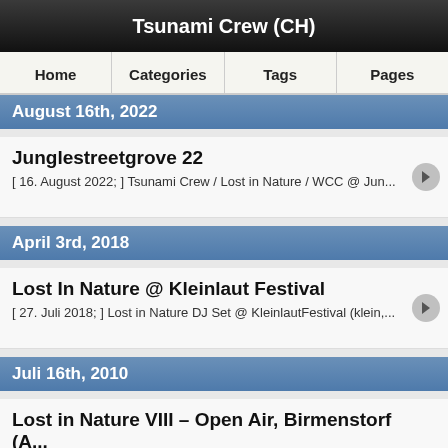Tsunami Crew (CH)
Home
Categories
Tags
Pages
August 16th, 2022
Junglestreetgrove 22
[ 16. August 2022; ] Tsunami Crew / Lost in Nature / WCC @ Jun...
April 3rd, 2018
Lost In Nature @ Kleinlaut Festival
[ 27. Juli 2018; ] Lost in Nature DJ Set @ KleinlautFestival (klein,...
Juli 16th, 2010
Lost in Nature VIII – Open Air, Birmenstorf (A...
Die Tsunami Crew und der Water Castle Clan organisieren zum ...
Es werden an die 24 Dj's sowie 3 Bands am Start sein.
LineUp:
COMMIX | JUBEL | SERA | NICKY BLACKMARKET | KLUTE